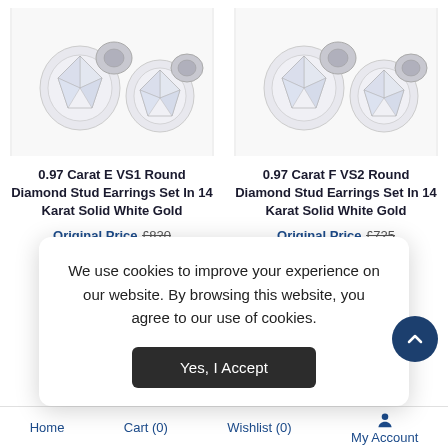[Figure (photo): Two diamond stud earrings on white background - left product image]
[Figure (photo): Two diamond stud earrings on white background - right product image]
0.97 Carat E VS1 Round Diamond Stud Earrings Set In 14 Karat Solid White Gold
0.97 Carat F VS2 Round Diamond Stud Earrings Set In 14 Karat Solid White Gold
Original Price £820
Original Price £725
We use cookies to improve your experience on our website. By browsing this website, you agree to our use of cookies.
Yes, I Accept
Home   Cart (0)   Wishlist (0)   My Account